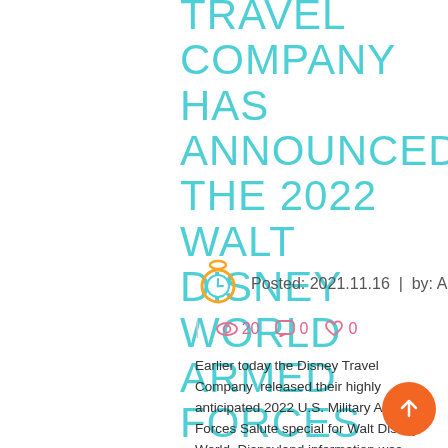TRAVEL COMPANY HAS ANNOUNCED THE 2022 WALT DISNEY WORLD ARMED FORCES SALUTE SPECIAL
Posted: 2021.11.16  |  by: Autumn
| 20  0  0
Earlier today the Disney Travel Company  released their highly anticipated 2022 U.S. Military Armed Forces Salute special for Walt Disney World, Disneyland information was released earlier this year. This ticket and/or resort special is available